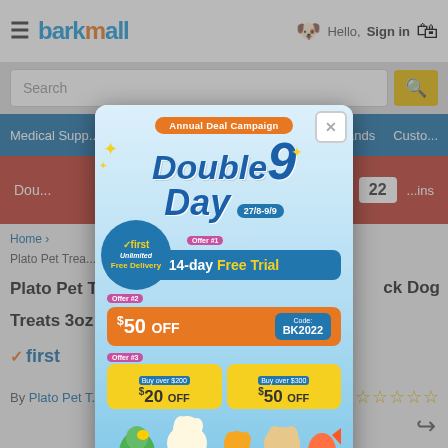barkmall — Hello, Sign in
Search
Medical Supp...   ...ands   Custo...
Home > Plato Pet Treats ... ts 3oz
Plato Pet Treats ... ck Dog Treats 3oz
[Figure (screenshot): Barkmall Annual Deal Campaign popup overlay showing Double 9 Day promotion (27/8-9/9). Features: first Unlimited Free Delivery circle badge, Offer #1: 14-day Free Trial, Offer #2: $50 OFF with code BK2022, Offer #3: Buy over $200 get $20 OFF / Buy over $300 get $50 OFF. Bottom shows pets (bird, dog, hamster, cat, fish). Learn More button at bottom.]
✓first
By Plato Pet T...